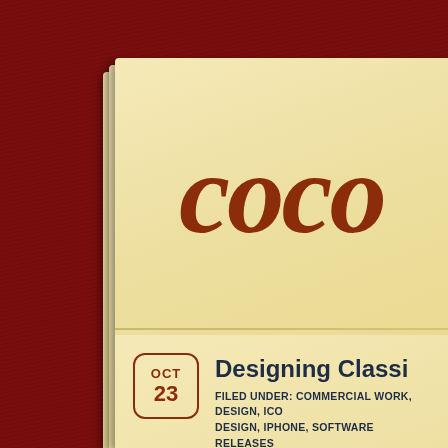COCO
Designing Classi...
FILED UNDER: COMMERCIAL WORK, DESIGN, ICO... DESIGN, IPHONE, SOFTWARE RELEASES
[Figure (other): Date badge showing OCT 23 in rounded rectangle border]